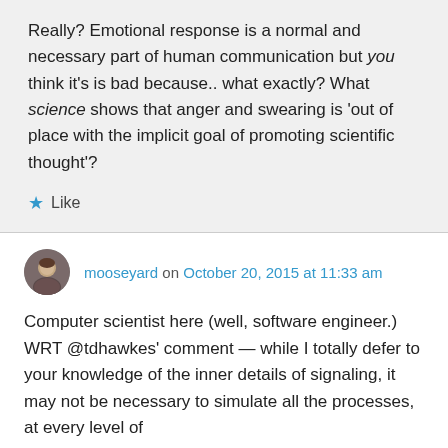Really? Emotional response is a normal and necessary part of human communication but you think it's is bad because.. what exactly? What science shows that anger and swearing is 'out of place with the implicit goal of promoting scientific thought'?
★ Like
mooseyard on October 20, 2015 at 11:33 am
Computer scientist here (well, software engineer.) WRT @tdhawkes' comment — while I totally defer to your knowledge of the inner details of signaling, it may not be necessary to simulate all the processes, at every level of